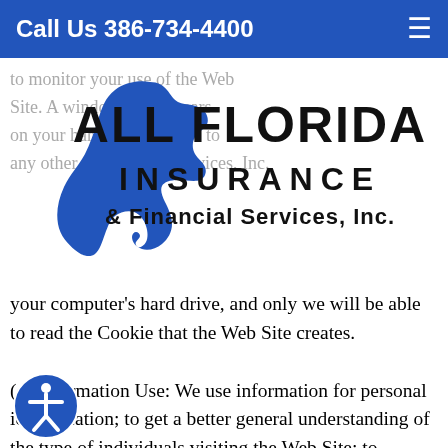Call Us 386-734-4400
[Figure (logo): All Florida Insurance & Financial Services, Inc. logo with Florida state silhouette in blue]
to monitor your use of the Web Site. A window that appears on your hard drive, unique to any other ...
your computer's hard drive, and only we will be able to read the Cookie that the Web Site creates.
(c) Information Use: We use information for personal identification; to get a better general understanding of the type of individuals visiting the Web Site; to respond to your requests for purchases, comments, or questions; to improve your experience at the Web Site; to collect aggregated site-visitation statistics; and to alert you to product enhancements, special